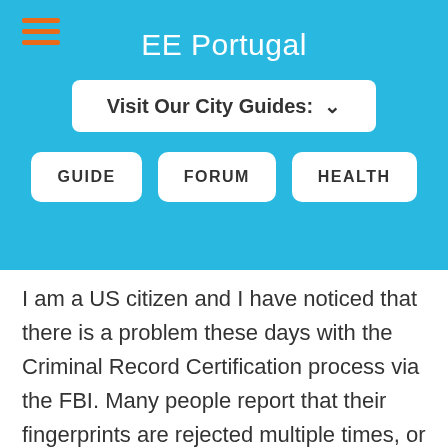EE Portugal
[Figure (screenshot): Dropdown menu button labeled 'Visit Our City Guides:' with a chevron arrow]
GUIDE   FORUM   HEALTH
I am a US citizen and I have noticed that there is a problem these days with the Criminal Record Certification process via the FBI. Many people report that their fingerprints are rejected multiple times, or never accepted, due to the new scanning process (your prints have to be scanned into their database). So, is there any way US citizens could submit a State Criminal Record Check (i.e. New York